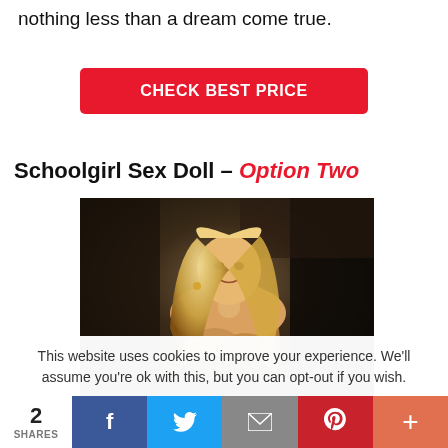nothing less than a dream come true.
CHECK BEST PRICE
Schoolgirl Sex Doll – Option Two
[Figure (photo): Photo of a blonde sex doll posing, with dark background and furniture visible]
This website uses cookies to improve your experience. We'll assume you're ok with this, but you can opt-out if you wish.
2 SHARES | Facebook | Twitter | Email | Pinterest | Plus